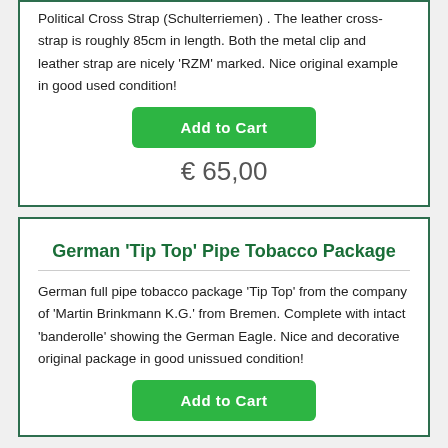Political Cross Strap (Schulterriemen) . The leather cross-strap is roughly 85cm in length. Both the metal clip and leather strap are nicely 'RZM' marked. Nice original example in good used condition!
Add to Cart
€ 65,00
German 'Tip Top' Pipe Tobacco Package
German full pipe tobacco package 'Tip Top' from the company of 'Martin Brinkmann K.G.' from Bremen. Complete with intact 'banderolle' showing the German Eagle. Nice and decorative original package in good unissued condition!
Add to Cart